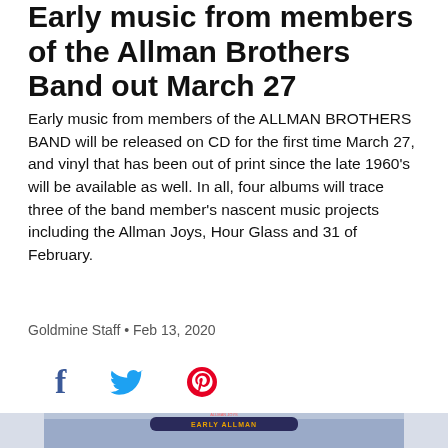Early music from members of the Allman Brothers Band out March 27
Early music from members of the ALLMAN BROTHERS BAND will be released on CD for the first time March 27, and vinyl that has been out of print since the late 1960's will be available as well. In all, four albums will trace three of the band member's nascent music projects including the Allman Joys, Hour Glass and 31 of February.
Goldmine Staff • Feb 13, 2020
[Figure (illustration): Social media sharing icons: Facebook (f), Twitter (bird), Pinterest (P)]
[Figure (photo): Album cover art for 'Early Allman' by Allman Joys, featuring Duane and Gregg Allman. Blue/purple decorative border with text 'ALLMAN JOYS' and 'EARLY ALLMAN' and 'FEATURING DUANE AND GREGG ALLMAN'. Center shows a vinyl record with bird/lightning bolt imagery.]